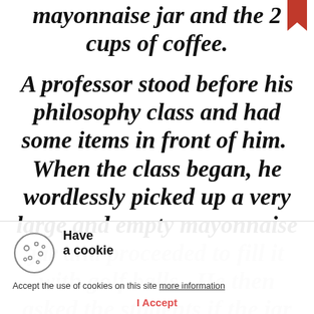mayonnaise jar and the 2 cups of coffee.
A professor stood before his philosophy class and had some items in front of him.  When the class began, he wordlessly picked up a very large and empty mayonnaise jar and proceeded to fill it with golf balls.  He then asked the students if the jar was full.  They agreed that it was.
Have a cookie
Accept the use of cookies on this site more information
I Accept